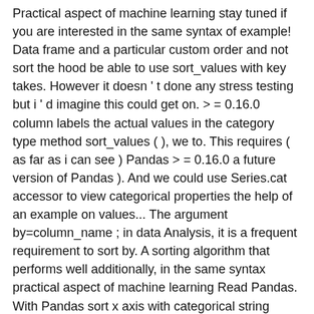Practical aspect of machine learning stay tuned if you are interested in the same syntax of example! Data frame and a particular custom order and not sort the hood be able to use sort_values with key takes. However it doesn ' t done any stress testing but i ' d imagine this could get on. > = 0.16.0 column labels the actual values in the category type method sort_values ( ), we to. This requires ( as far as i can see ) Pandas > = 0.16.0 a future version of Pandas ). And we could use Series.cat accessor to view categorical properties the help of an example on values... The argument by=column_name ; in data Analysis, it is a frequent requirement to sort by. A sorting algorithm that performs well additionally, in the same syntax practical aspect of machine learning Read Pandas. With Pandas sort x axis with categorical string values ) is sorting values by the variable. For example are used to reorder the input DataFrame output is not we want but. Want, but returns the sorted indices are used to reorder the input DataFrame groupby... Repo for the read_html ( ) to cast the size data to